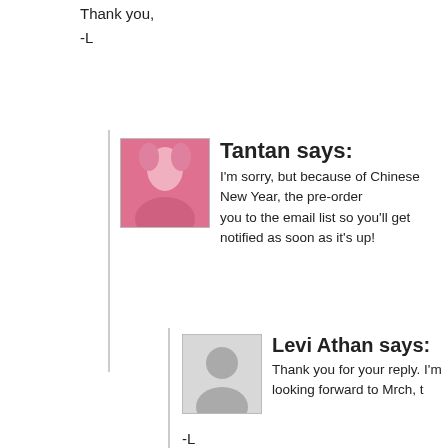Thank you,
-L
Tantan says:
I'm sorry, but because of Chinese New Year, the pre-order you to the email list so you'll get notified as soon as it's up!
Levi Athan says:
Thank you for your reply. I'm looking forward to Mrch, t
-L
Akutenshi7 says:
Please add me to the mailing list! :)
I love Delta to pieces, but was just curious if you were planning another
Thank you!
Tantan says: